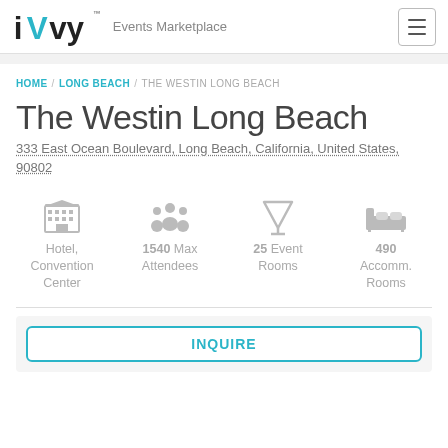iVvy Events Marketplace
HOME / LONG BEACH / THE WESTIN LONG BEACH
The Westin Long Beach
333 East Ocean Boulevard, Long Beach, California, United States, 90802
Hotel, Convention Center | 1540 Max Attendees | 25 Event Rooms | 490 Accomm. Rooms
INQUIRE